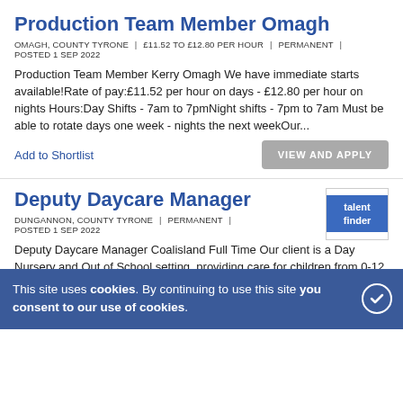Production Team Member Omagh
OMAGH, COUNTY TYRONE | £11.52 TO £12.80 PER HOUR | PERMANENT | POSTED 1 SEP 2022
Production Team Member Kerry Omagh We have immediate starts available!Rate of pay:£11.52 per hour on days - £12.80 per hour on nights Hours:Day Shifts - 7am to 7pmNight shifts - 7pm to 7am Must be able to rotate days one week - nights the next weekOur...
Add to Shortlist
VIEW AND APPLY
Deputy Daycare Manager
[Figure (logo): talent finder logo - blue square with white text]
DUNGANNON, COUNTY TYRONE | PERMANENT | POSTED 1 SEP 2022
Deputy Daycare Manager Coalisland Full Time Our client is a Day Nursery and Out of School setting, providing care for children from 0-12 ye... ropriate skills. W...
Add to Shortlist
VIEW AND APPLY
This site uses cookies. By continuing to use this site you consent to our use of cookies.